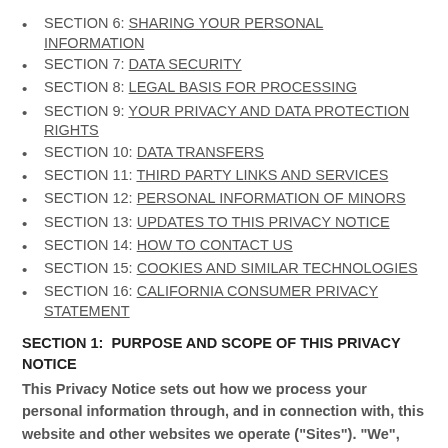SECTION 6: SHARING YOUR PERSONAL INFORMATION
SECTION 7: DATA SECURITY
SECTION 8: LEGAL BASIS FOR PROCESSING
SECTION 9: YOUR PRIVACY AND DATA PROTECTION RIGHTS
SECTION 10: DATA TRANSFERS
SECTION 11: THIRD PARTY LINKS AND SERVICES
SECTION 12: PERSONAL INFORMATION OF MINORS
SECTION 13: UPDATES TO THIS PRIVACY NOTICE
SECTION 14: HOW TO CONTACT US
SECTION 15: COOKIES AND SIMILAR TECHNOLOGIES
SECTION 16: CALIFORNIA CONSUMER PRIVACY STATEMENT
SECTION 1:  PURPOSE AND SCOPE OF THIS PRIVACY NOTICE
This Privacy Notice sets out how we process your personal information through, and in connection with, this website and other websites we operate ("Sites"). "We", "us" and